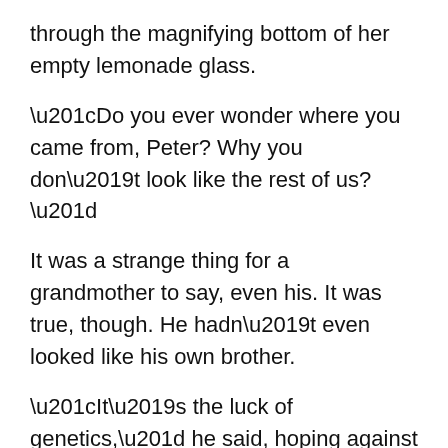through the magnifying bottom of her empty lemonade glass.
“Do you ever wonder where you came from, Peter? Why you don’t look like the rest of us?”
It was a strange thing for a grandmother to say, even his. It was true, though. He hadn’t even looked like his own brother.
“It’s the luck of genetics,” he said, hoping against hope that the concept of Mendelian inheritance as he understood it only having recently learned it in school would hold his grandmother and her strangely pagan theories at bay, but he had a feeling she knew more than she let on. That her strange beliefs were both a smoke screen and smoke signal.